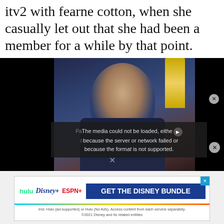itv2 with fearne cotton, when she casually let out that she had been a member for a while by that point.
[Figure (photo): Photo of a dark-haired man in a dark suit at what appears to be a red carpet event, with an Oscar statuette visible in the background. A video player error overlay reads: 'The media could not be loaded, either because the server or network failed or because the format is not supported.']
[Figure (screenshot): Advertisement banner for the Disney Bundle featuring Hulu, Disney+, and ESPN+ logos with text 'GET THE DISNEY BUNDLE'. Fine print: 'Incl. Hulu (ad-supported) or Hulu (No Ads). Access content from each service separately. ©2021 Disney and its related entities']